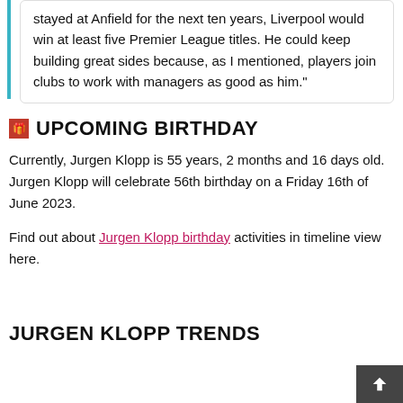stayed at Anfield for the next ten years, Liverpool would win at least five Premier League titles. He could keep building great sides because, as I mentioned, players join clubs to work with managers as good as him."
🎁 UPCOMING BIRTHDAY
Currently, Jurgen Klopp is 55 years, 2 months and 16 days old. Jurgen Klopp will celebrate 56th birthday on a Friday 16th of June 2023.
Find out about Jurgen Klopp birthday activities in timeline view here.
JURGEN KLOPP TRENDS